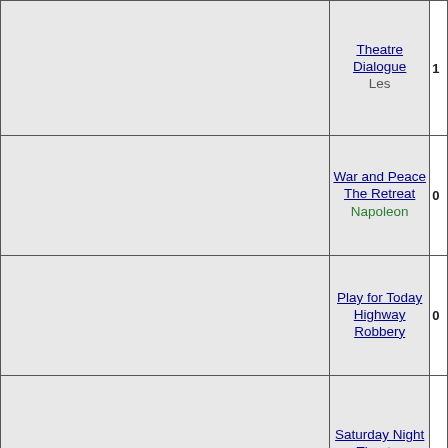| Image | Show/Episode/Character | Num |
| --- | --- | --- |
|  | Theatre Dialogue / Les | 1 |
|  | War and Peace / The Retreat / Napoleon | 0 |
|  | Play for Today / Highway Robbery | 0 |
|  | Saturday Night Theatre / But Fred, Freud Is Dead / Fred Evans | 0 |
| [photo] | Thriller / Who Killed Lamb? / Insp. Havelock | 0 |